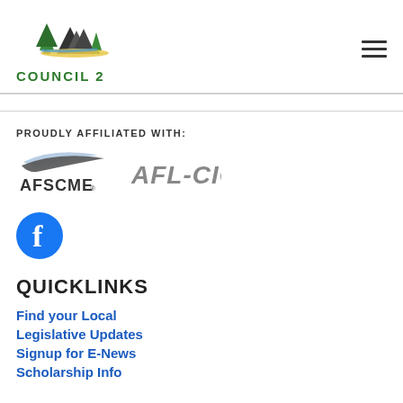COUNCIL 2
PROUDLY AFFILIATED WITH:
[Figure (logo): AFSCME logo with swoosh graphic above the text]
[Figure (logo): AFL-CIO text logo in gray bold italic]
[Figure (logo): Facebook circular logo icon in blue]
QUICKLINKS
Find your Local
Legislative Updates
Signup for E-News
Scholarship Info